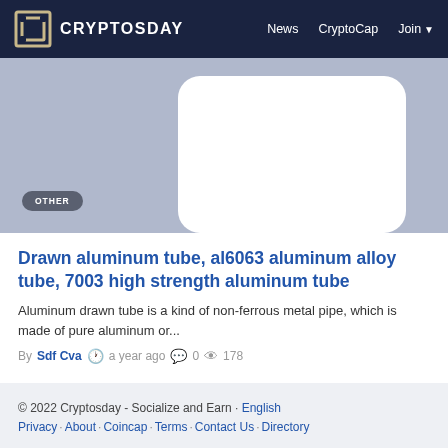CRYPTOSDAY — News  CryptoCap  Join
[Figure (illustration): Light blue-grey hero banner with a white rounded rectangle shape and a smaller white rectangle, with a dark grey pill badge labeled OTHER in the lower left]
Drawn aluminum tube, al6063 aluminum alloy tube, 7003 high strength aluminum tube
Aluminum drawn tube is a kind of non-ferrous metal pipe, which is made of pure aluminum or...
By Sdf Cva  a year ago  0  178
© 2022 Cryptosday - Socialize and Earn · English
Privacy · About · Coincap · Terms · Contact Us · Directory